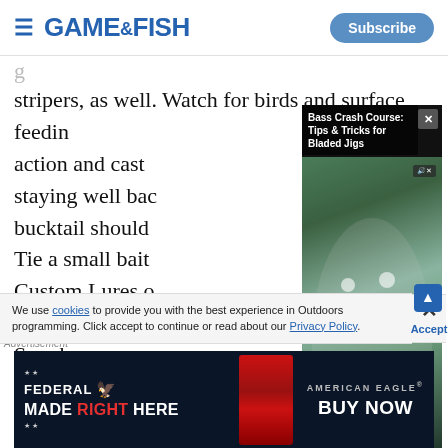GAME&FISH | Subscribe
stripers, as well. Watch for birds and surface feeding action and cast staying well back bucktail should Tie a small bait Custom Lures c line, then run a Snook
[Figure (screenshot): Embedded video player showing 'Bass Crash Course: Tips & Tricks for Bladed Jigs' with a man in a cap holding a fishing lure, controls showing 00:00 / 04:00, with close button X]
We use cookies to provide you with the best experience in Outdoors programming. Click accept to continue or read about our Privacy Policy.
[Figure (photo): Federal American Eagle advertisement banner - Made RIGHT HERE with Federal logo and Buy Now call to action on dark blue background]